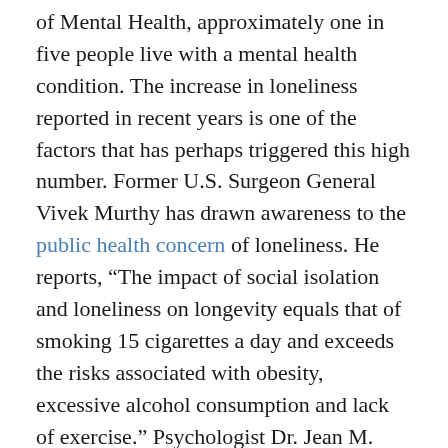of Mental Health, approximately one in five people live with a mental health condition. The increase in loneliness reported in recent years is one of the factors that has perhaps triggered this high number. Former U.S. Surgeon General Vivek Murthy has drawn awareness to the public health concern of loneliness. He reports, “The impact of social isolation and loneliness on longevity equals that of smoking 15 cigarettes a day and exceeds the risks associated with obesity, excessive alcohol consumption and lack of exercise.” Psychologist Dr. Jean M. Twenge also acknowledges the effects of loneliness, particularly on the younger generation, which she terms “iGen.” Her book, iGen: Why Today’s Super-Connected Kids are Growing up Less Rebellious, More Tolerant, Less Happy—and Completely Unprepared for Adulthood,